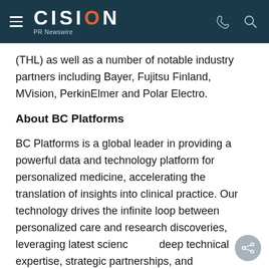CISION PR Newswire
(THL) as well as a number of notable industry partners including Bayer, Fujitsu Finland, MVision, PerkinElmer and Polar Electro.
About BC Platforms
BC Platforms is a global leader in providing a powerful data and technology platform for personalized medicine, accelerating the translation of insights into clinical practice. Our technology drives the infinite loop between personalized care and research discoveries, leveraging latest science, deep technical expertise, strategic partnerships, and